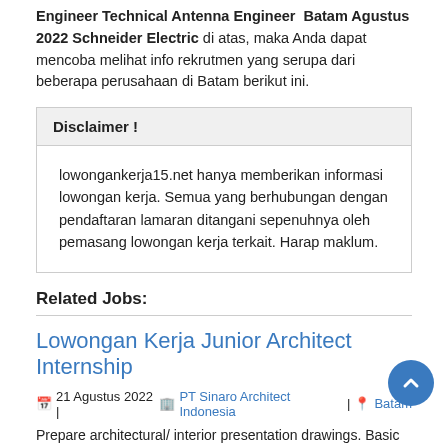Engineer Technical Antenna Engineer Batam Agustus 2022 Schneider Electric di atas, maka Anda dapat mencoba melihat info rekrutmen yang serupa dari beberapa perusahaan di Batam berikut ini.
Disclaimer !
lowongankerja15.net hanya memberikan informasi lowongan kerja. Semua yang berhubungan dengan pendaftaran lamaran ditangani sepenuhnya oleh pemasang lowongan kerja terkait. Harap maklum.
Related Jobs:
Lowongan Kerja Junior Architect Internship
21 Agustus 2022 | PT Sinaro Architect Indonesia | Batam
Prepare architectural/ interior presentation drawings. Basic skills of Google SketchUp, AutoCAD/ArchiCAD, Ms Excel, 3Ds Max &